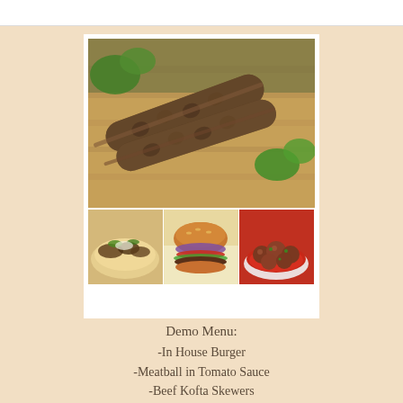[Figure (photo): Food collage: large top image of beef kofta skewers on a wooden board with herbs, bottom row of three images: beef tortilla pocket, in-house burger, and meatball in tomato sauce]
Demo Menu:
-In House Burger
-Meatball in Tomato Sauce
-Beef Kofta Skewers
-Beef Tortilla Pocket